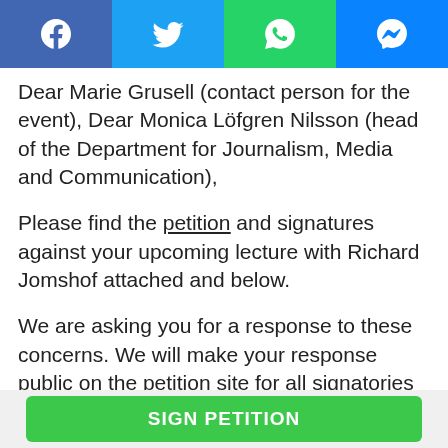[Figure (other): Social media share bar with four icons: Facebook (blue), Twitter (light blue), WhatsApp (green), Messenger (blue)]
Dear Marie Grusell (contact person for the event), Dear Monica Löfgren Nilsson (head of the Department for Journalism, Media and Communication),
Please find the petition and signatures against your upcoming lecture with Richard Jomshof attached and below.
We are asking you for a response to these concerns. We will make your response public on the petition site for all signatories to see.
All the best
SIGN PETITION